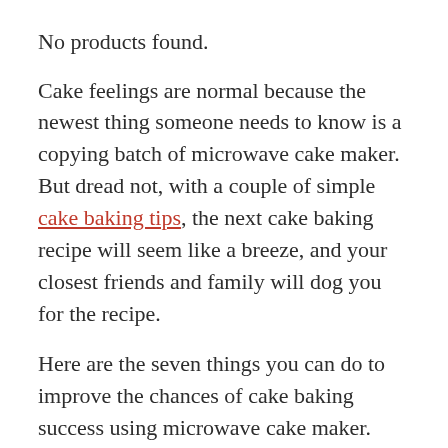No products found.
Cake feelings are normal because the newest thing someone needs to know is a copying batch of microwave cake maker. But dread not, with a couple of simple cake baking tips, the next cake baking recipe will seem like a breeze, and your closest friends and family will dog you for the recipe.
Here are the seven things you can do to improve the chances of cake baking success using microwave cake maker.
Make sure you are fully prepared for